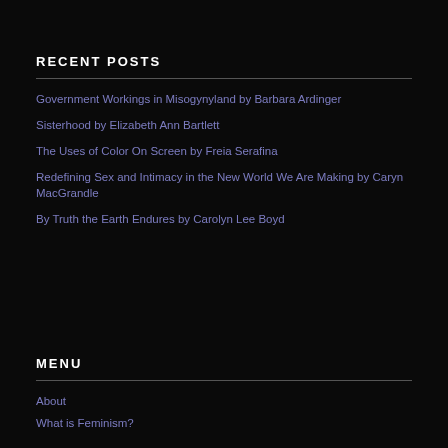RECENT POSTS
Government Workings in Misogynyland by Barbara Ardinger
Sisterhood by Elizabeth Ann Bartlett
The Uses of Color On Screen by Freia Serafina
Redefining Sex and Intimacy in the New World We Are Making by Caryn MacGrandle
By Truth the Earth Endures by Carolyn Lee Boyd
MENU
About
What is Feminism?